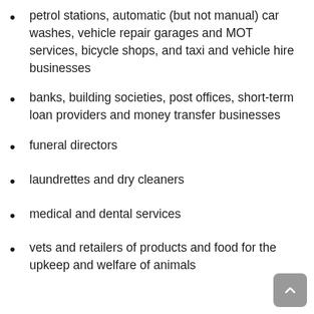petrol stations, automatic (but not manual) car washes, vehicle repair garages and MOT services, bicycle shops, and taxi and vehicle hire businesses
banks, building societies, post offices, short-term loan providers and money transfer businesses
funeral directors
laundrettes and dry cleaners
medical and dental services
vets and retailers of products and food for the upkeep and welfare of animals